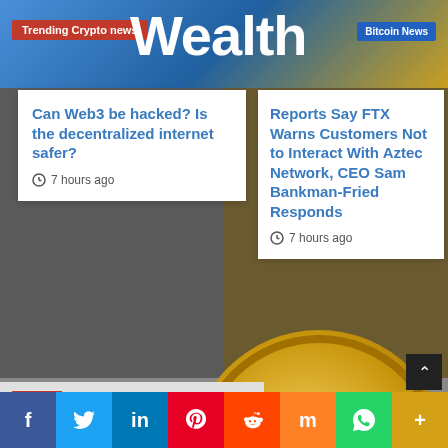Trending Crypto news | Wealth | Bitcoin News
Can Web3 be hacked? Is the decentralized internet safer?
7 hours ago
Reports Say FTX Warns Customers Not to Interact With Aztec Network, CEO Sam Bankman-Fried Responds
7 hours ago
[Figure (photo): Московская Биржа (Moscow Exchange) signage with red logo]
[Figure (photo): Gold bitcoin coins on dollar bills background]
Social share buttons: Facebook, Twitter, LinkedIn, Pinterest, Reddit, Mix, WhatsApp, More